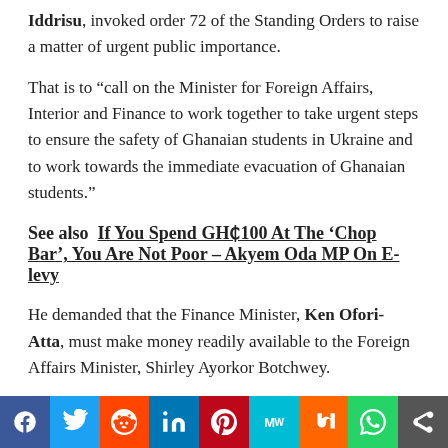Iddrisu, invoked order 72 of the Standing Orders to raise a matter of urgent public importance.
That is to “call on the Minister for Foreign Affairs, Interior and Finance to work together to take urgent steps to ensure the safety of Ghanaian students in Ukraine and to work towards the immediate evacuation of Ghanaian students.”
See also  If You Spend GH₵100 At The ‘Chop Bar’, You Are Not Poor – Akyem Oda MP On E-levy
He demanded that the Finance Minister, Ken Ofori-Atta, must make money readily available to the Foreign Affairs Minister, Shirley Ayorkor Botchwey.
“We do know the number of Ghanaian students in Ukraine. Quite a number studying medicine, probably some even sponsored by Members of Parliament. The situation in Ukraine is very worrying.
Social share bar: Facebook, Twitter, Reddit, LinkedIn, Pinterest, MeWe, Mix, WhatsApp, Share